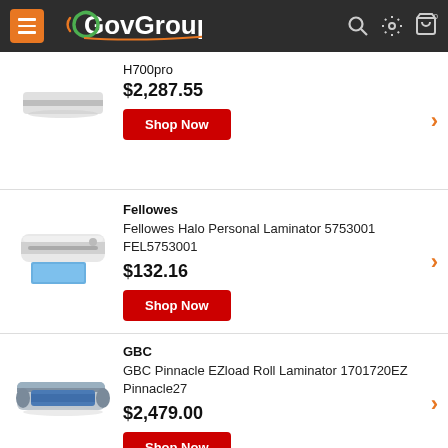GovGroup
H700pro
$2,287.55
Shop Now
Fellowes
Fellowes Halo Personal Laminator 5753001 FEL5753001
$132.16
Shop Now
GBC
GBC Pinnacle EZload Roll Laminator 1701720EZ Pinnacle27
$2,479.00
Shop Now